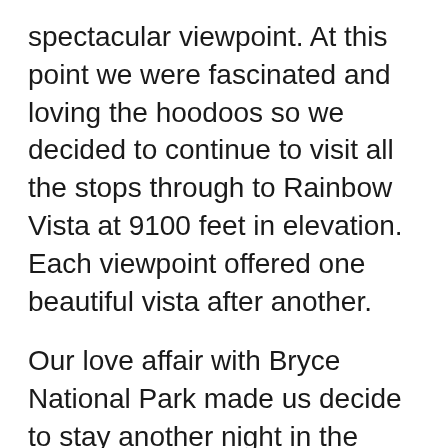spectacular viewpoint. At this point we were fascinated and loving the hoodoos so we decided to continue to visit all the stops through to Rainbow Vista at 9100 feet in elevation. Each viewpoint offered one beautiful vista after another.
Our love affair with Bryce National Park made us decide to stay another night in the park. So, we headed out of the park to find a store for some more firewood. On the way out, we were pulled over by a Park Ranger! One of our headlights had gone out and we hadn't yet noticed. Thankfully, he didn't give us a ticket and we went directly to and from the store for our supplies.
We spent the rest of the night eating another